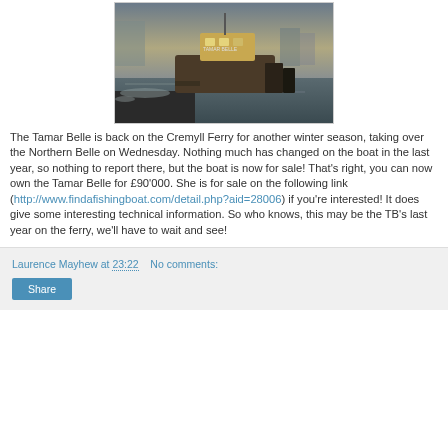[Figure (photo): A ferry boat (Tamar Belle) docked at a waterside pier at dusk/dawn, with calm reflective water and a harbour in the background.]
The Tamar Belle is back on the Cremyll Ferry for another winter season, taking over the Northern Belle on Wednesday. Nothing much has changed on the boat in the last year, so nothing to report there, but the boat is now for sale! That's right, you can now own the Tamar Belle for £90'000. She is for sale on the following link (http://www.findafishingboat.com/detail.php?aid=28006) if you're interested! It does give some interesting technical information. So who knows, this may be the TB's last year on the ferry, we'll have to wait and see!
Laurence Mayhew at 23:22    No comments:
Share